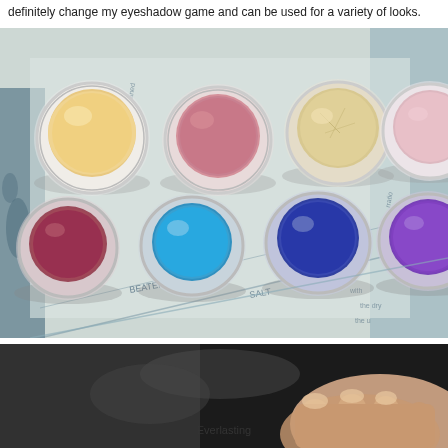definitely change my eyeshadow game and can be used for a variety of looks.
[Figure (photo): Seven small clear glass jars of cream eyeshadow in various colors (yellow/cream, mauve/rose, champagne/gold, light pink, burgundy/red, bright blue, cobalt blue, and purple) arranged on a distressed blue and white printed background.]
[Figure (photo): Partial close-up photo showing a hand/arm against a dark background, with the word 'Everlasting' visible at the bottom.]
Everlasting